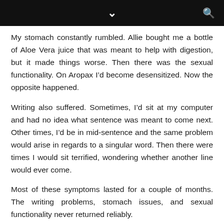My stomach constantly rumbled. Allie bought me a bottle of Aloe Vera juice that was meant to help with digestion, but it made things worse. Then there was the sexual functionality. On Aropax I’d become desensitized. Now the opposite happened.
Writing also suffered. Sometimes, I’d sit at my computer and had no idea what sentence was meant to come next. Other times, I’d be in mid-sentence and the same problem would arise in regards to a singular word. Then there were times I would sit terrified, wondering whether another line would ever come.
Most of these symptoms lasted for a couple of months. The writing problems, stomach issues, and sexual functionality never returned reliably.
I asked Dr Jarasinghe and Dr Warren about it, and both